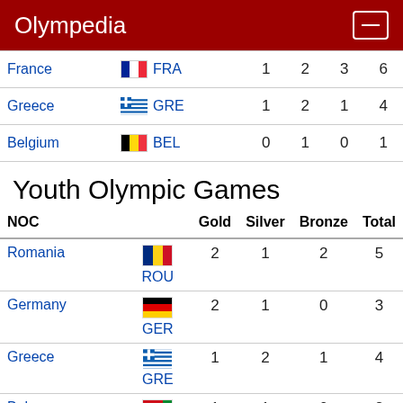Olympedia
| NOC |  | Gold | Silver | Bronze | Total |
| --- | --- | --- | --- | --- | --- |
| France | FRA | 1 | 2 | 3 | 6 |
| Greece | GRE | 1 | 2 | 1 | 4 |
| Belgium | BEL | 0 | 1 | 0 | 1 |
Youth Olympic Games
| NOC |  | Gold | Silver | Bronze | Total |
| --- | --- | --- | --- | --- | --- |
| Romania | ROU | 2 | 1 | 2 | 5 |
| Germany | GER | 2 | 1 | 0 | 3 |
| Greece | GRE | 1 | 2 | 1 | 4 |
| Belarus |  | 1 | 1 | 0 | 2 |